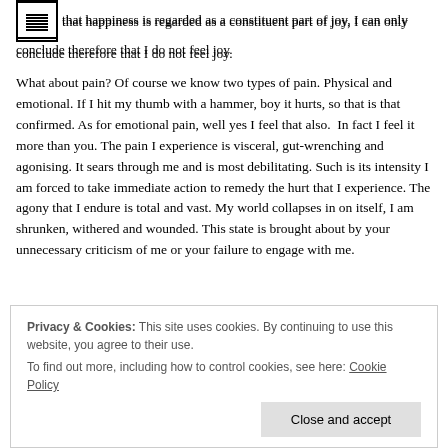powerful, infused and elated. Since I do not feel happiness and that happiness is regarded as a constituent part of joy, I can only conclude therefore that I do not feel joy.
What about pain? Of course we know two types of pain. Physical and emotional. If I hit my thumb with a hammer, boy it hurts, so that is that confirmed. As for emotional pain, well yes I feel that also. In fact I feel it more than you. The pain I experience is visceral, gut-wrenching and agonising. It sears through me and is most debilitating. Such is its intensity I am forced to take immediate action to remedy the hurt that I experience. The agony that I endure is total and vast. My world collapses in on itself, I am shrunken, withered and wounded. This state is brought about by your unnecessary criticism of me or your failure to engage with me.
Privacy & Cookies: This site uses cookies. By continuing to use this website, you agree to their use. To find out more, including how to control cookies, see here: Cookie Policy
Close and accept